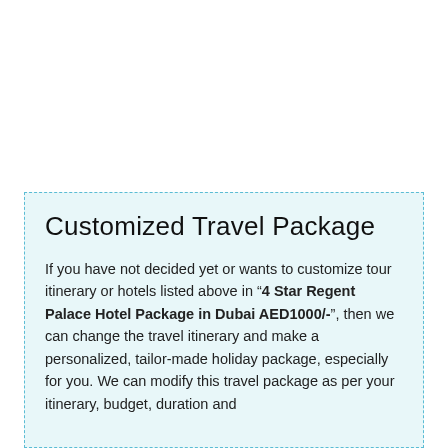Customized Travel Package
If you have not decided yet or wants to customize tour itinerary or hotels listed above in "4 Star Regent Palace Hotel Package in Dubai AED1000/-", then we can change the travel itinerary and make a personalized, tailor-made holiday package, especially for you. We can modify this travel package as per your itinerary, budget, duration and